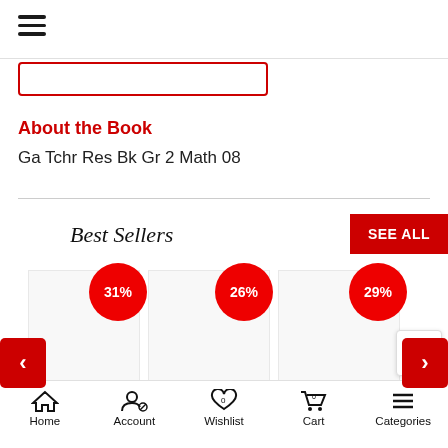[Figure (screenshot): Hamburger menu icon at top left]
[Figure (screenshot): Search bar with red border]
About the Book
Ga Tchr Res Bk Gr 2 Math 08
Best Sellers
[Figure (screenshot): Best Sellers carousel with 3 product slots showing discount badges of 31%, 26%, and 29%, with left and right navigation arrows]
Home  Account  Wishlist  Cart  Categories